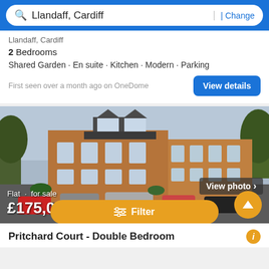Llandaff, Cardiff | Change
Llandaff, Cardiff
2 Bedrooms
Shared Garden · En suite · Kitchen · Modern · Parking
First seen over a month ago on OneDome
View details
[Figure (photo): Exterior photo of a brick apartment building (Pritchard Court) with cars parked in front, trees visible on sides, grey sky]
View photo ›
Flat · for sale
£175,000
Filter
Pritchard Court - Double Bedroom
Llandaff, Cardiff